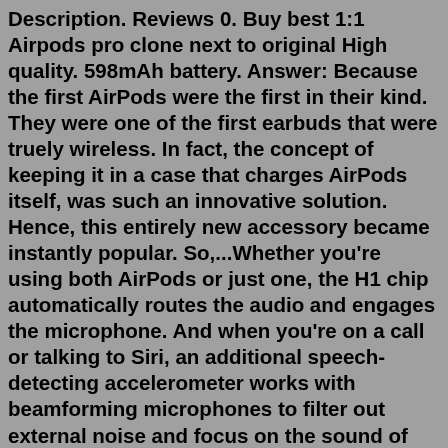Description. Reviews 0. Buy best 1:1 Airpods pro clone next to original High quality. 598mAh battery. Answer: Because the first AirPods were the first in their kind. They were one of the first earbuds that were truely wireless. In fact, the concept of keeping it in a case that charges AirPods itself, was such an innovative solution. Hence, this entirely new accessory became instantly popular. So,...Whether you're using both AirPods or just one, the H1 chip automatically routes the audio and engages the microphone. And when you're on a call or talking to Siri, an additional speech-detecting accelerometer works with beamforming microphones to filter out external noise and focus on the sound of your voice. The way a airpods pro copy is designed and manufactured and the material it is made of are key attributes indicating how durable it will be. Choose the best airpods pro copy that has the ability to withstand wear, pressure, or damage. Plus, make sure it features a sleek design that'll look great in any place.Airpod Pro 1st Copy Good Battery Backup. Rated 5.00 out of 5 based on 1